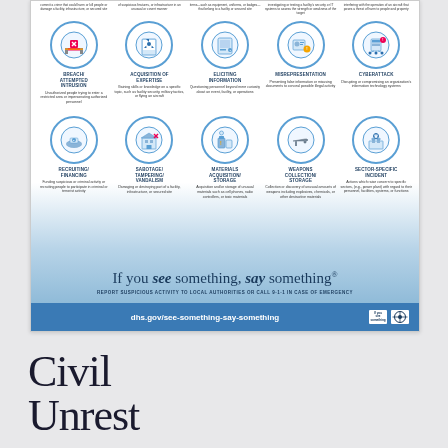[Figure (infographic): DHS 'If You See Something, Say Something' poster showing 10 suspicious activity indicators arranged in a 5x2 grid with icons: Breach/Attempted Intrusion, Acquisition of Expertise, Eliciting Information, Misrepresentation, Cyberattack, Recruiting/Financing, Sabotage/Tampering/Vandalism, Materials Acquisition/Storage, Weapons Collection/Storage, Sector-Specific Incident. Bottom section has 'If you see something, say something' call to action and dhs.gov/see-something-say-something URL.]
Civil Unrest